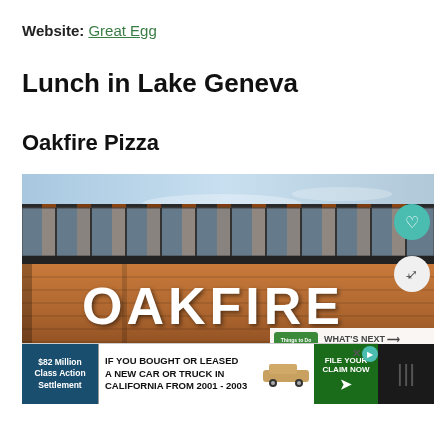Website: Great Egg
Lunch in Lake Geneva
Oakfire Pizza
[Figure (photo): Exterior photo of Oakfire Pizza restaurant building with orange/brown wooden facade, glass upper level with dark steel frame, OAKFIRE signage in white letters. Overlaid with heart and share buttons, a 'What's Next' promo for Top Things to Do in Lake Geneva, and an ad banner for a $82 Million Class Action Settlement car lawsuit.]